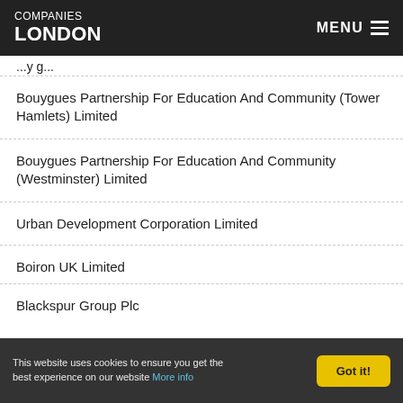COMPANIES LONDON | MENU
...y g...
Bouygues Partnership For Education And Community (Tower Hamlets) Limited
Bouygues Partnership For Education And Community (Westminster) Limited
Urban Development Corporation Limited
Boiron UK Limited
Blackspur Group Plc
This website uses cookies to ensure you get the best experience on our website More info | Got it!